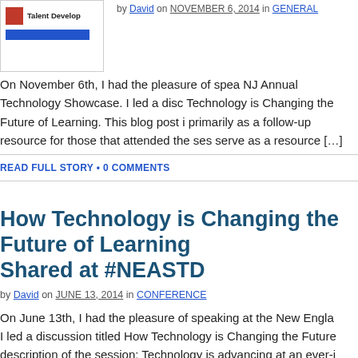[Figure (logo): ATD Talent Develop logo thumbnail with red box and blue bar]
by David on NOVEMBER 6, 2014 in GENERAL
On November 6th, I had the pleasure of speaking at the NJ Annual Technology Showcase. I led a discussion titled How Technology is Changing the Future of Learning. This blog post is primarily as a follow-up resource for those that attended the session, but will also serve as a resource [...]
READ FULL STORY • 0 COMMENTS
How Technology is Changing the Future of Learning Shared at #NEASTD
by David on JUNE 13, 2014 in CONFERENCE
On June 13th, I had the pleasure of speaking at the New England I led a discussion titled How Technology is Changing the Future description of the session: Technology is advancing at an ever-i technologies are introduced to organizations almost every day: